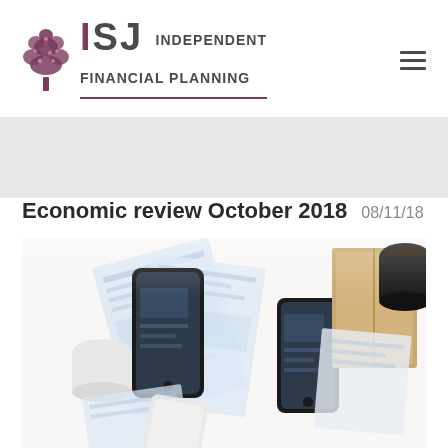ISJ Independent Financial Planning
Economic review October 2018   08/11/18
[Figure (photo): Overhead flat-lay photo of a white desk surface with two smartphones, scattered financial documents/invoices, a kraft cardboard notebook, and a coffee cup, suggesting a financial planning context.]